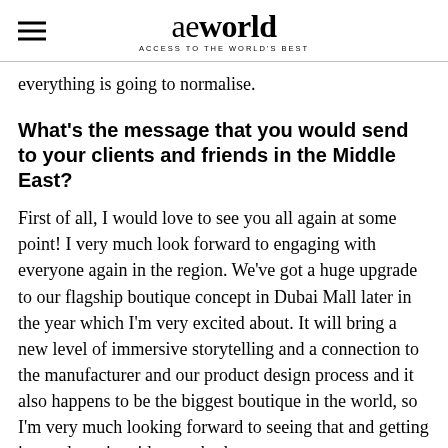aeworld ACCESS TO THE WORLD'S BEST
everything is going to normalise.
What's the message that you would send to your clients and friends in the Middle East?
First of all, I would love to see you all again at some point! I very much look forward to engaging with everyone again in the region. We've got a huge upgrade to our flagship boutique concept in Dubai Mall later in the year which I'm very excited about. It will bring a new level of immersive storytelling and a connection to the manufacturer and our product design process and it also happens to be the biggest boutique in the world, so I'm very much looking forward to seeing that and getting in touch again with everybody.